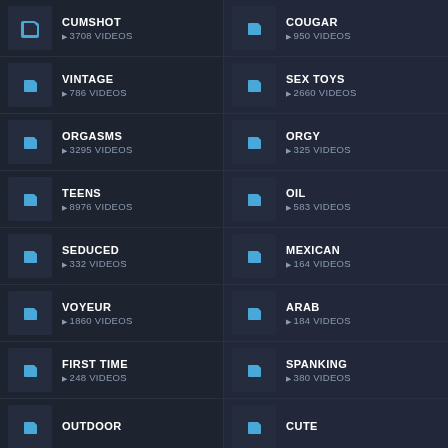CUMSHOT
▶ 3708 VIDEOS
COUGAR
▶ 950 VIDEOS
VINTAGE
▶ 786 VIDEOS
SEX TOYS
▶ 2660 VIDEOS
ORGASMS
▶ 3295 VIDEOS
ORGY
▶ 325 VIDEOS
TEENS
▶ 8976 VIDEOS
OIL
▶ 583 VIDEOS
SEDUCED
▶ 332 VIDEOS
MEXICAN
▶ 164 VIDEOS
VOYEUR
▶ 1860 VIDEOS
ARAB
▶ 184 VIDEOS
FIRST TIME
▶ 248 VIDEOS
SPANKING
▶ 380 VIDEOS
OUTDOOR
CUTE